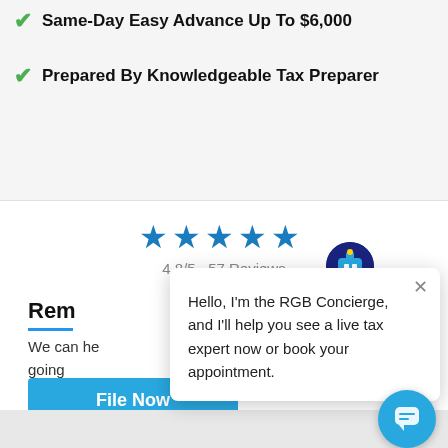Same-Day Easy Advance Up To $6,000
Prepared By Knowledgeable Tax Preparer
[Figure (other): Five blue star rating icons]
4.8/5  57 Reviews
Rem
We can he going
[Figure (screenshot): Popup chat widget from RGB Concierge with avatar and close button. Text: Hello, I'm the RGB Concierge, and I'll help you see a live tax expert now or book your appointment.]
File Now
[Figure (other): Blue circular chat bubble button in the bottom right corner]